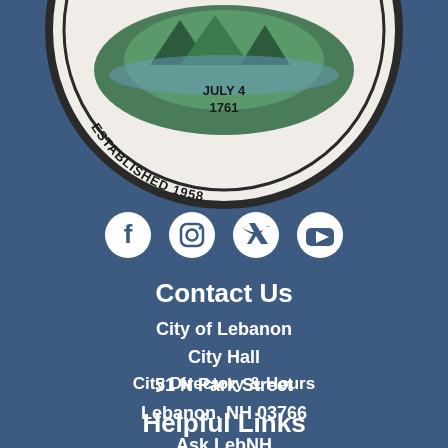[Figure (logo): City of Lebanon seal showing 'INCORPORATED JULY 4 1761' and 'ESTABLISHED 1958' text around a circular emblem, partially cropped at top]
[Figure (infographic): Social media icons: Facebook, Instagram, Twitter, YouTube — white icons on steel blue background]
Contact Us
City of Lebanon
City Hall
51 N Park Street
Lebanon, NH 03766
City Directory & Hours
Helpful Links
Ask LebNH
Information for New Residents